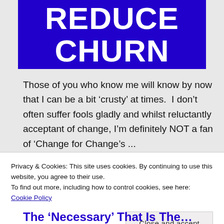[Figure (illustration): Blue banner with white bold text reading REDUCE CHURN]
Those of you who know me will know by now that I can be a bit ‘crusty’ at times.  I don’t often suffer fools gladly and whilst reluctantly acceptant of change, I’m definitely NOT a fan of ‘Change for Change’s ...
Privacy & Cookies: This site uses cookies. By continuing to use this website, you agree to their use.
To find out more, including how to control cookies, see here: Cookie Policy
Close and accept
The ‘Necessary’ That Is The...